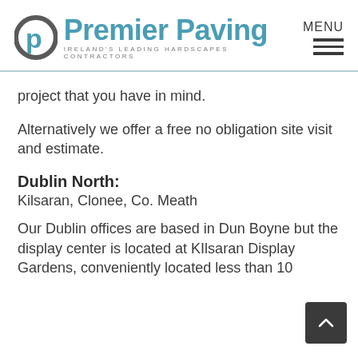[Figure (logo): Premier Paving logo with circular P icon and tagline IRELAND'S LEADING HARDSCAPES CONTRACTORS]
project that you have in mind.
Alternatively we offer a free no obligation site visit and estimate.
Dublin North:
Kilsaran, Clonee, Co. Meath
Our Dublin offices are based in Dun Boyne but the display center is located at KIlsaran Display Gardens, conveniently located less than 10